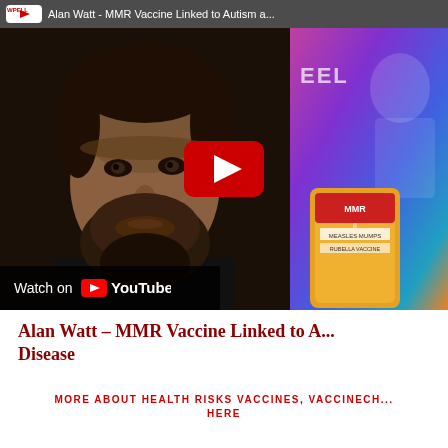[Figure (screenshot): YouTube video thumbnail showing a bearded man on the left half and a colorful MMR vaccine bottle image on the right half, with a YouTube play button overlay and 'Watch on YouTube' bar at bottom left. Top bar reads 'Alan Watt - MMR Vaccine Linked to Autism a...']
Alan Watt – MMR Vaccine Linked to A... Disease
MORE ABOUT HEALTH RISKS VACCINES, VACCINECH... HERE